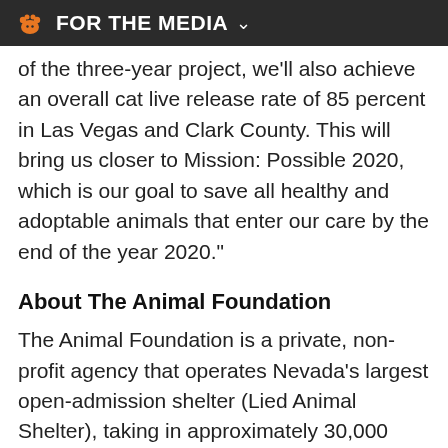FOR THE MEDIA
of the three-year project, we'll also achieve an overall cat live release rate of 85 percent in Las Vegas and Clark County. This will bring us closer to Mission: Possible 2020, which is our goal to save all healthy and adoptable animals that enter our care by the end of the year 2020."
About The Animal Foundation
The Animal Foundation is a private, non-profit agency that operates Nevada's largest open-admission shelter (Lied Animal Shelter), taking in approximately 30,000 lost, unwanted and abandoned pets every year. The Animal Foundation envisions a humane and